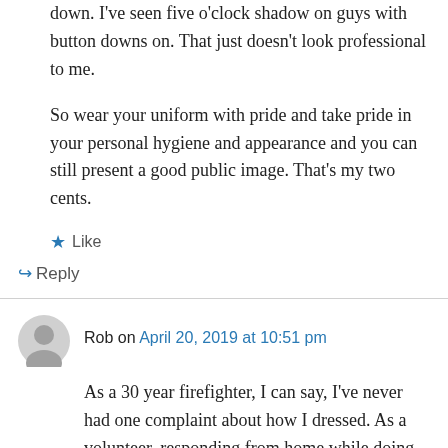down. I've seen five o'clock shadow on guys with button downs on. That just doesn't look professional to me.
So wear your uniform with pride and take pride in your personal hygiene and appearance and you can still present a good public image. That's my two cents.
★ Like
↳ Reply
Rob on April 20, 2019 at 10:51 pm
As a 30 year firefighter, I can say, I've never had one complaint about how I dressed. As a volunteer, responding from home while doing yard work to my professional career in a busy